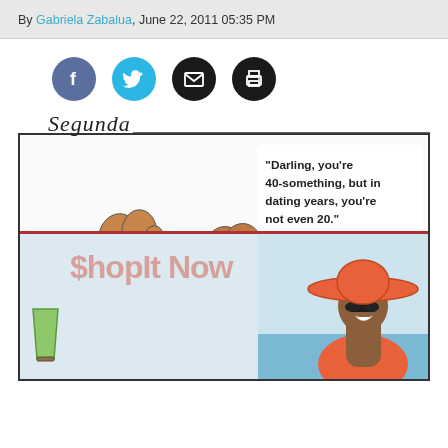By Gabriela Zabalua, June 22, 2011 05:35 PM
[Figure (infographic): Social sharing icons: Facebook (purple circle), Twitter (blue circle), Email (black circle), Print (black circle)]
[Figure (illustration): Comic strip labeled 'Segunda' showing cartoon characters. A woman with curly hair says 'Breathe.' A man tells a distressed-looking woman: 'Darling, you're 40-something, but in dating years, you're not even 20.' Below the comic is an advertisement overlay showing 'ShopIt Now' text with a woman wearing an orange hat and swimsuit.]